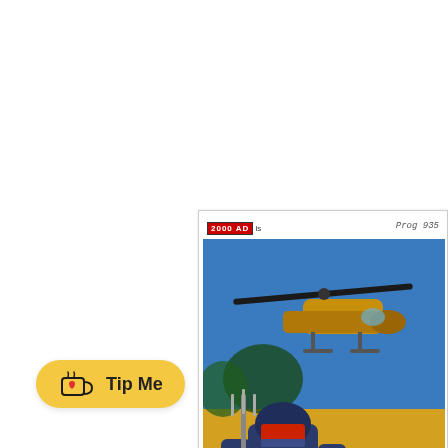This issue Finn uses to his ac... are very similar to a small nu... for wear returns to his car to f... this is just the first step on a p...
[Figure (illustration): 2000 AD comic book cover or interior page, Prog 935, showing an armored warrior figure holding a trident/spear in the foreground against a yellow/sandy background, with a military helicopter in the background.]
[Figure (other): Ko-fi Tip Me button with heart icon and coffee cup logo on a yellow/gold rounded rectangle button]